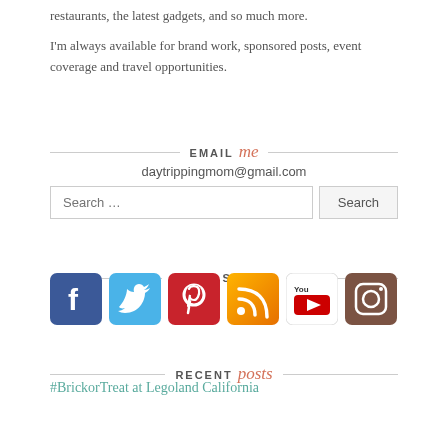restaurants, the latest gadgets, and so much more.
I'm always available for brand work, sponsored posts, event coverage and travel opportunities.
EMAIL me
daytrippingmom@gmail.com
Search …
WE'RE SOCIAL
[Figure (infographic): Row of social media icons: Facebook, Twitter, Pinterest, RSS, YouTube, Instagram]
RECENT posts
#BrickorTreat at Legoland California